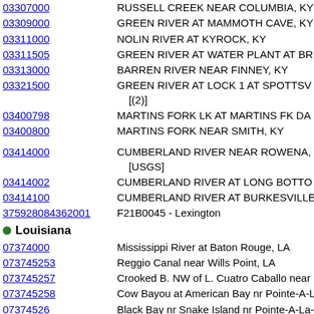03307000 | RUSSELL CREEK NEAR COLUMBIA, KY
03309000 | GREEN RIVER AT MAMMOTH CAVE, KY
03311000 | NOLIN RIVER AT KYROCK, KY
03311505 | GREEN RIVER AT WATER PLANT AT BR
03313000 | BARREN RIVER NEAR FINNEY, KY
03321500 | GREEN RIVER AT LOCK 1 AT SPOTTSV [(2)]
03400798 | MARTINS FORK LK AT MARTINS FK DA
03400800 | MARTINS FORK NEAR SMITH, KY
03414000 | CUMBERLAND RIVER NEAR ROWENA, [USGS]
03414002 | CUMBERLAND RIVER AT LONG BOTTO
03414100 | CUMBERLAND RIVER AT BURKESVILLE
375928084362001 | F21B0045 - Lexington
Louisiana
07374000 | Mississippi River at Baton Rouge, LA
073745253 | Reggio Canal near Wills Point, LA
073745257 | Crooked B. NW of L. Cuatro Caballo near
073745258 | Cow Bayou at American Bay nr Pointe-A-L
07374526 | Black Bay nr Snake Island nr Pointe-A-La-
07374527 | Northeast Bay Gardene near Point-A-L A